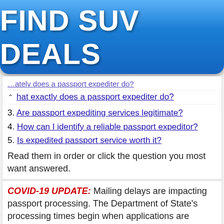[Figure (infographic): Blue gradient banner advertisement button with white bold text reading FIND SUV DEALS]
hat exactly does a passport expediter do?
3. Are passport expediting services legitimate?
4. How can I identify a reliable passport expeditor?
5. Is expedited passport service worth it?
Read them in order or click the question you most want answered.
COVID-19 UPDATE: Mailing delays are impacting passport processing. The Department of State's processing times begin when applications are received at a passport agency or center and not when you mail
Search For
01 Apply for a Passport
02 Flight Deals from Childs Hill